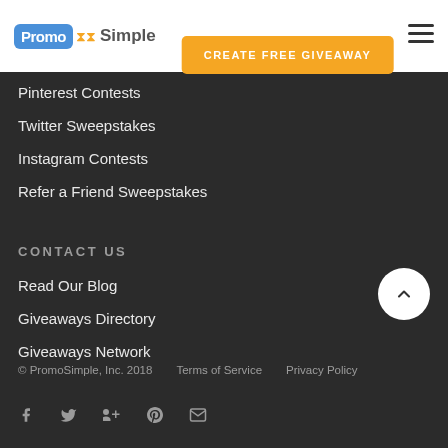[Figure (logo): PromoSimple logo with blue speech bubble and orange wave, followed by 'Simple' in gray text]
[Figure (other): Orange 'CREATE FREE GIVEAWAY' button and hamburger menu icon]
Pinterest Contests
Twitter Sweepstakes
Instagram Contests
Refer a Friend Sweepstakes
CONTACT US
Read Our Blog
Giveaways Directory
Giveaways Network
© PromoSimple, Inc. 2018   Terms of Service   Privacy Policy
[Figure (other): Social media icons: Facebook, Twitter, Google+, Pinterest, Email]